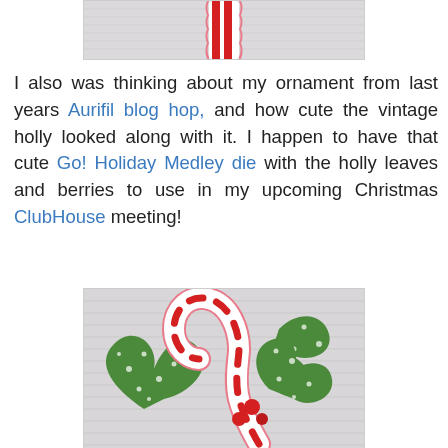[Figure (photo): Top portion of a candy cane and holly ornament on white textured fabric, cropped at top of page]
I also was thinking about my ornament from last years Aurifil blog hop, and how cute the vintage holly looked along with it. I happen to have that cute Go! Holiday Medley die with the holly leaves and berries to use in my upcoming Christmas ClubHouse meeting!
[Figure (photo): A fabric candy cane ornament with red and white stripes alongside green polka-dot holly leaves and red button berries, placed on white textured fabric/towel background]